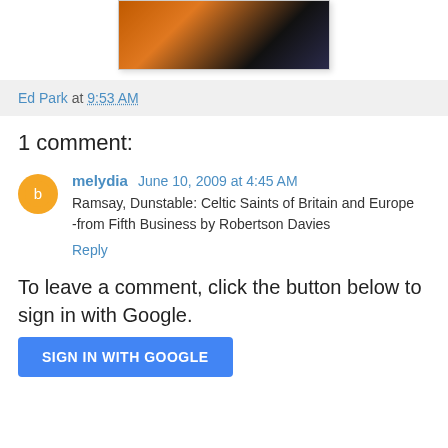[Figure (photo): Partial image of hands holding a book near a fire, dark and warm tones]
Ed Park at 9:53 AM
1 comment:
melydia  June 10, 2009 at 4:45 AM
Ramsay, Dunstable: Celtic Saints of Britain and Europe -from Fifth Business by Robertson Davies
Reply
To leave a comment, click the button below to sign in with Google.
SIGN IN WITH GOOGLE